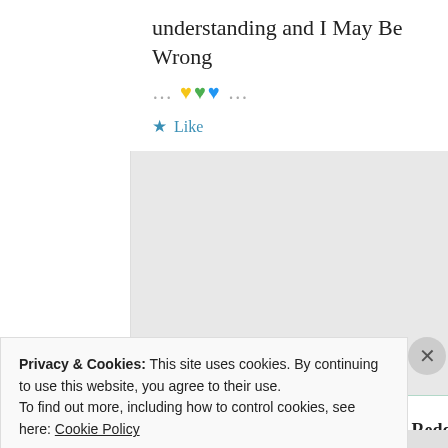understanding and I May Be Wrong
... 💛💚💙 ...
★ Like
Suma Reddy
9th Jun 2021 at
8:52 pm
Privacy & Cookies: This site uses cookies. By continuing to use this website, you agree to their use.
To find out more, including how to control cookies, see here: Cookie Policy
Close and accept